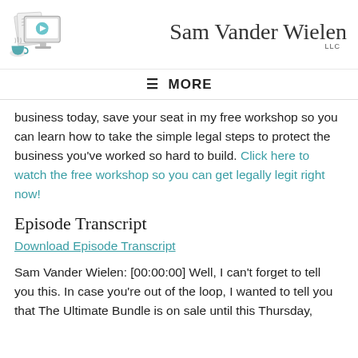[Figure (logo): Sam Vander Wielen LLC logo with illustrated computer monitor showing a play button, papers, and a coffee cup, alongside cursive brand name text]
≡  MORE
business today, save your seat in my free workshop so you can learn how to take the simple legal steps to protect the business you've worked so hard to build. Click here to watch the free workshop so you can get legally legit right now!
Episode Transcript
Download Episode Transcript
Sam Vander Wielen: [00:00:00] Well, I can't forget to tell you this. In case you're out of the loop, I wanted to tell you that The Ultimate Bundle is on sale until this Thursday,